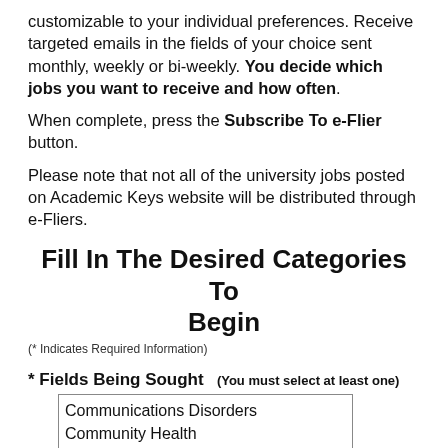customizable to your individual preferences. Receive targeted emails in the fields of your choice sent monthly, weekly or bi-weekly. You decide which jobs you want to receive and how often.
When complete, press the Subscribe To e-Flier button.
Please note that not all of the university jobs posted on Academic Keys website will be distributed through e-Fliers.
Fill In The Desired Categories To Begin
(* Indicates Required Information)
* Fields Being Sought  (You must select at least one)
Communications Disorders
Community Health
Dental Hygiene/Dental Assisting